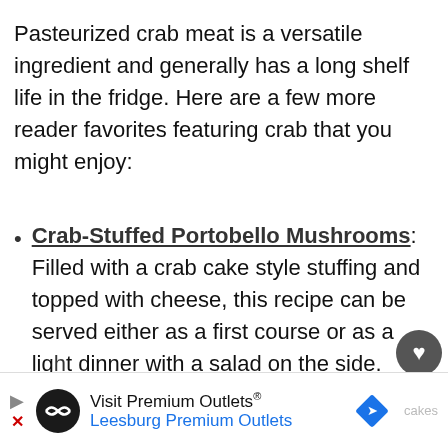Pasteurized crab meat is a versatile ingredient and generally has a long shelf life in the fridge. Here are a few more reader favorites featuring crab that you might enjoy:
Crab-Stuffed Portobello Mushrooms: Filled with a crab cake style stuffing and topped with cheese, this recipe can be served either as a first course or as a light dinner with a salad on the side.
Quick Baked Crab Cakes: Six simple ingredients make for an iconic hands-on cakes
Visit Premium Outlets® Leesburg Premium Outlets